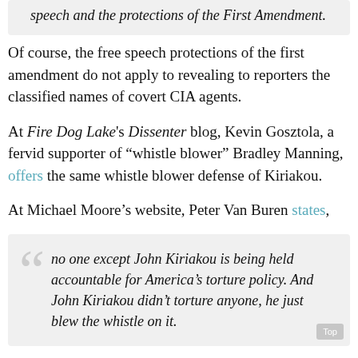speech and the protections of the First Amendment.
Of course, the free speech protections of the first amendment do not apply to revealing to reporters the classified names of covert CIA agents.
At Fire Dog Lake's Dissenter blog, Kevin Gosztola, a fervid supporter of “whistle blower” Bradley Manning, offers the same whistle blower defense of Kiriakou.
At Michael Moore’s website, Peter Van Buren states,
no one except John Kiriakou is being held accountable for America’s torture policy. And John Kiriakou didn’t torture anyone, he just blew the whistle on it.
Interestingly, it could be anyone, but not John Kiriakou who